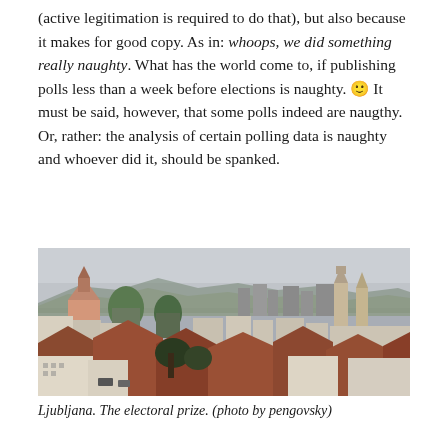(active legitimation is required to do that), but also because it makes for good copy. As in: whoops, we did something really naughty. What has the world come to, if publishing polls less than a week before elections is naughty. 🙂 It must be said, however, that some polls indeed are naugthy. Or, rather: the analysis of certain polling data is naughty and whoever did it, should be spanked.
[Figure (photo): Aerial/elevated view of Ljubljana cityscape showing rooftops, church towers with green domes, and mountains in the background under an overcast sky.]
Ljubljana. The electoral prize. (photo by pengovsky)